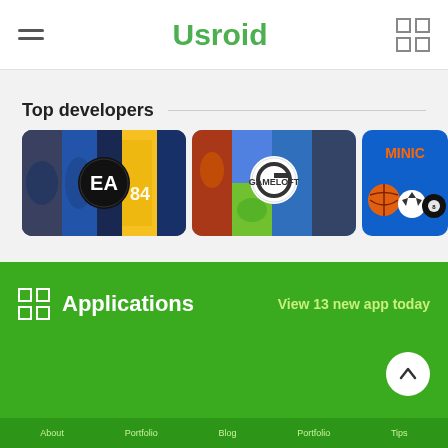Usroid
Top developers
[Figure (screenshot): EA developer card with game collage images and EA logo]
[Figure (screenshot): Gameloft developer card with game collage images and Gameloft logo]
[Figure (screenshot): Miniclip developer card showing sports balls on blue background with MINIC text]
Applications
View 13 new app today